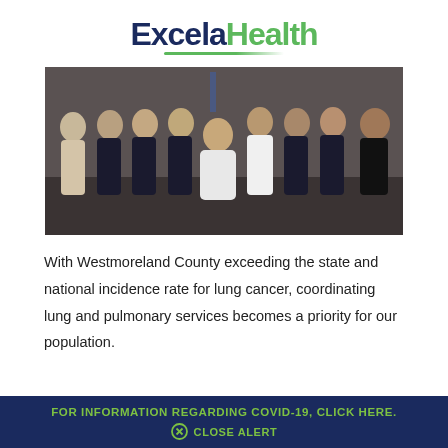[Figure (logo): Excela Health logo with dark blue 'Excela' and green 'Health' text, green underline accent]
[Figure (photo): Group photo of approximately 10 healthcare workers standing together, some in white lab coats, others in dark scrubs, posed indoors]
With Westmoreland County exceeding the state and national incidence rate for lung cancer, coordinating lung and pulmonary services becomes a priority for our population.
FOR INFORMATION REGARDING COVID-19, CLICK HERE. ⓧ CLOSE ALERT